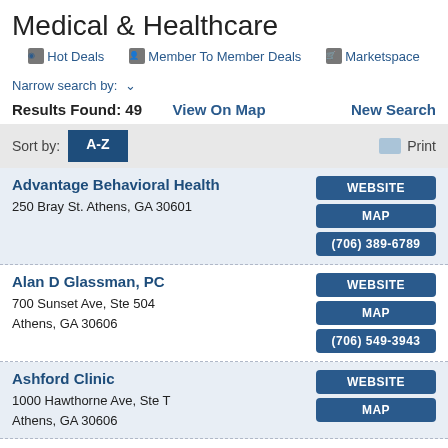Medical & Healthcare
Hot Deals  Member To Member Deals  Marketspace
Narrow search by:  ∨
Results Found: 49  View On Map  New Search
Sort by: A-Z  Print
Advantage Behavioral Health
250 Bray St. Athens, GA 30601
WEBSITE | MAP | (706) 389-6789
Alan D Glassman, PC
700 Sunset Ave, Ste 504
Athens, GA 30606
WEBSITE | MAP | (706) 549-3943
Ashford Clinic
1000 Hawthorne Ave, Ste T
Athens, GA 30606
WEBSITE | MAP